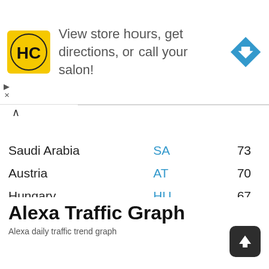[Figure (other): Advertisement banner for HC (Hair Club) salon: yellow logo with HC text, ad text 'View store hours, get directions, or call your salon!', blue diamond navigation arrow icon]
| Country | Code | Value |
| --- | --- | --- |
| Saudi Arabia | SA | 73 |
| Austria | AT | 70 |
| Hungary | HU | 67 |
| Sweden | SE | 64 |
| Singapore | SG | 61 |
| Pakistan | PK | 59 |
| Bangladesh | BD | 56 |
| Denmark | DK | 53 |
| Greece | GR | 50 |
Alexa Traffic Graph
Alexa daily traffic trend graph